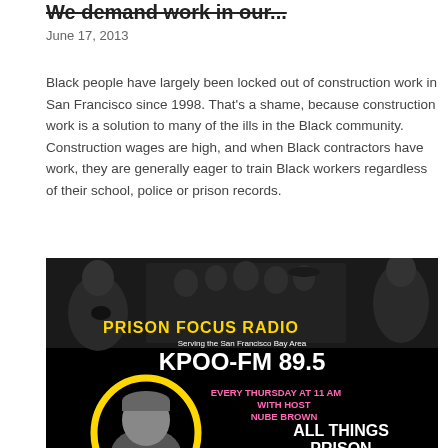We demand work in our...
June 17, 2013
Black people have largely been locked out of construction work in San Francisco since 1998. That's a shame, because construction work is a solution to many of the ills in the Black community. Construction wages are high, and when Black contractors have work, they are generally eager to train Black workers regardless of their school, police or prison records.
[Figure (photo): Prison Focus Radio promotional banner for KPOO-FM 89.5, showing black and white photos of musicians and a person in a grey beanie with yellow circle. Text reads: PRISON FOCUS RADIO, Serving the San Francisco Bay Area, KPOO-FM 89.5, EVERY THURSDAY AT 11 AM WITH HOST NUBE BROWN, ALL THINGS PRISON]